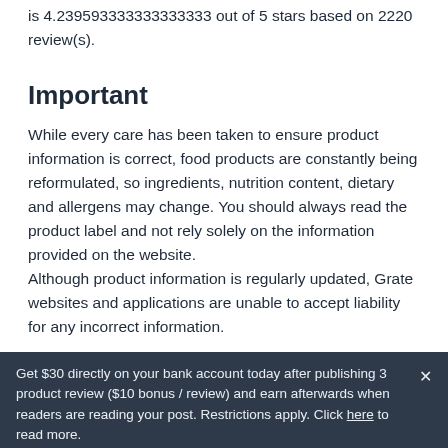is 4.239593333333333333 out of 5 stars based on 2220 review(s).
Important
While every care has been taken to ensure product information is correct, food products are constantly being reformulated, so ingredients, nutrition content, dietary and allergens may change. You should always read the product label and not rely solely on the information provided on the website.
Although product information is regularly updated, Grate websites and applications are unable to accept liability for any incorrect information.
Get $30 directly on your bank account today after publishing 3 product review ($10 bonus / review) and earn afterwards when readers are reading your post. Restrictions apply. Click here to read more.